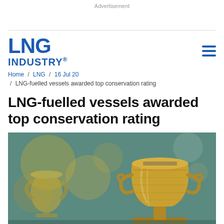Advertisement
LNG INDUSTRY®
Home / LNG / 16 Jul 20 / LNG-fuelled vessels awarded top conservation rating
LNG-fuelled vessels awarded top conservation rating
[Figure (photo): Gold trophy cups in the foreground and background, photographed against a teal/green blurred background]